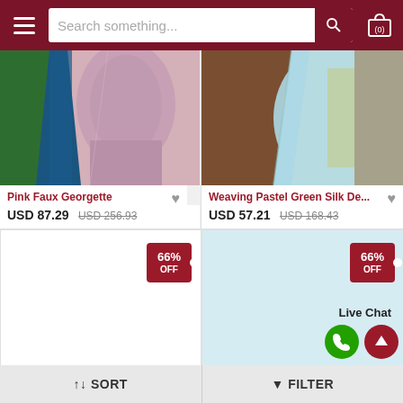[Figure (screenshot): E-commerce website header with hamburger menu, search bar, and cart icon]
[Figure (photo): Pink Faux Georgette Embroidered dress product image]
Pink Faux Georgette Embroid...
USD 87.29  USD 256.93
[Figure (photo): Weaving Pastel Green Silk Saree product image]
Weaving Pastel Green Silk De...
USD 57.21  USD 168.43
[Figure (other): Product card bottom left with 66% OFF tag]
[Figure (other): Product card bottom right with 66% OFF tag, Live Chat, phone and up arrow icons]
Live Chat
↑↓ SORT
▼ FILTER